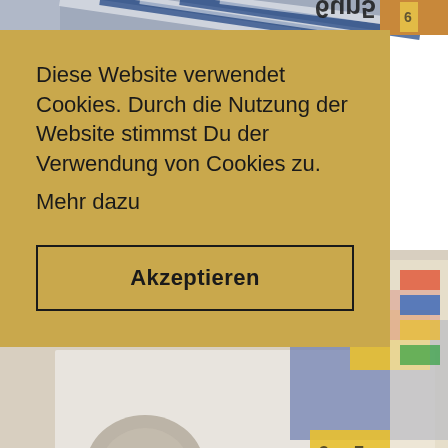[Figure (photo): Background photo of colorful fabric accessories and wallets displayed on a white surface with open booklet/catalog pages showing text and product descriptions. Partial photos visible at top edges showing striped and patterned textiles.]
Diese Website verwendet Cookies. Durch die Nutzung der Website stimmst Du der Verwendung von Cookies zu.
 Mehr dazu
Akzeptieren